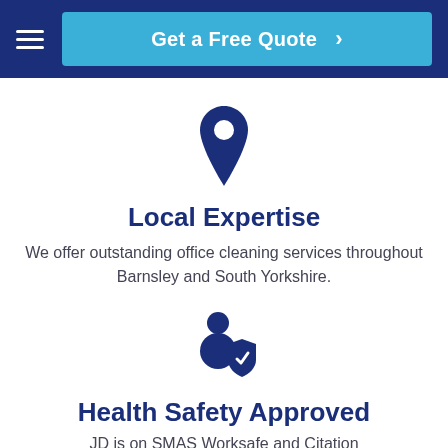[Figure (screenshot): Navigation bar with hamburger menu icon and 'Get a Free Quote' button on dark blue background]
[Figure (illustration): Dark blue map pin / location marker icon]
Local Expertise
We offer outstanding office cleaning services throughout Barnsley and South Yorkshire.
[Figure (illustration): Dark blue person with shield icon (health and safety approved)]
Health Safety Approved
JD is on SMAS Worksafe and Citation